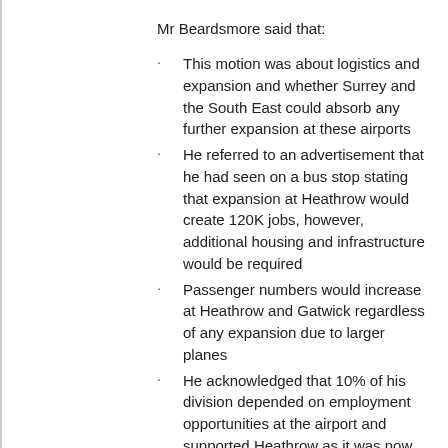Mr Beardsmore said that:
This motion was about logistics and expansion and whether Surrey and the South East could absorb any further expansion at these airports
He referred to an advertisement that he had seen on a bus stop stating that expansion at Heathrow would create 120K jobs, however, additional housing and infrastructure would be required
Passenger numbers would increase at Heathrow and Gatwick regardless of any expansion due to larger planes
He acknowledged that 10% of his division depended on employment opportunities at the airport and supported Heathrow as it was now
He considered that Heathrow and Gatwick would continue to be successful, whether they expanded further or not.